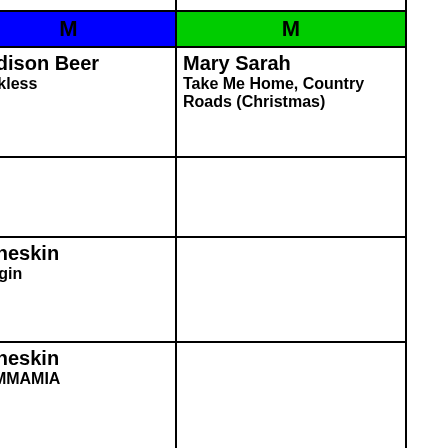| M | M | M |
| --- | --- | --- |
| Machine Gun Kelly
papercuts | Madison Beer
Reckless | Mary Sarah
Take Me Home, Country Roads (Christmas) |
| Madame Mayhem
I Am More |  |  |
| Malia J
Smells Like Teen Spirit | Maneskin
Beggin |  |
| Maneskin
Beggin | Maneskin
MAMMAMIA |  |
| Maneskin
MAMMAMIA |  | Michael Ray
Whiskey And Rain |
| Midland |  |  |